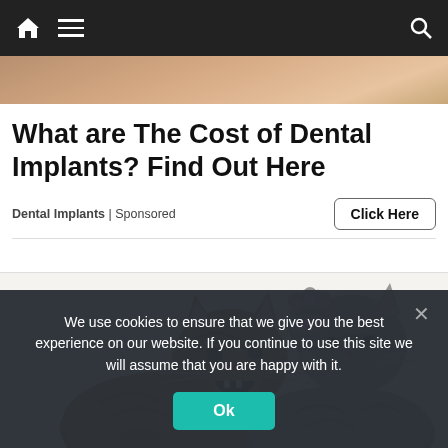Navigation bar with home, menu, and search icons
[Figure (photo): Top portion of a webpage showing a partial skin-toned image strip at the top]
What are The Cost of Dental Implants? Find Out Here
Dental Implants | Sponsored
[Figure (photo): Two tabby cats facing each other on a white background, one with mouth open and one raising a paw]
We use cookies to ensure that we give you the best experience on our website. If you continue to use this site we will assume that you are happy with it.